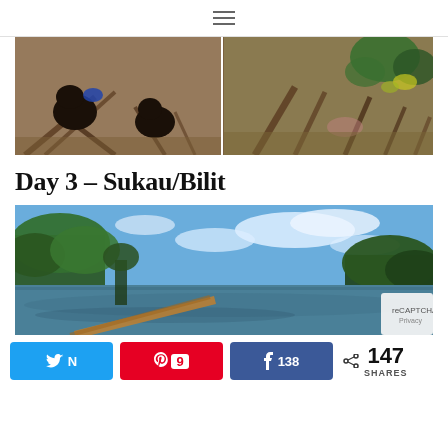≡
[Figure (photo): Two photos of sun bears or similar dark animals on forest floor with roots and foliage, side by side in a strip]
Day 3 – Sukau/Bilit
[Figure (photo): Wide landscape photo of a jungle river with trees on both sides, blue sky with clouds, log or branch visible in foreground water]
N 9 138 < 147 SHARES